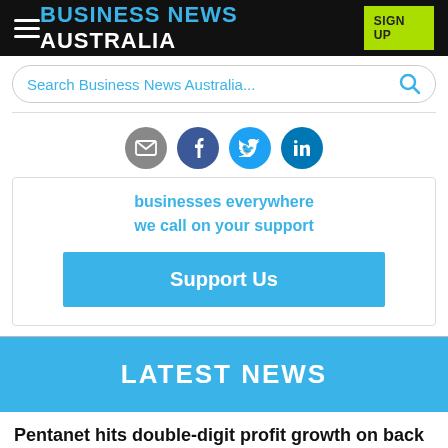BUSINESS NEWS AUSTRALIA
Search Business News Australia...
[Figure (infographic): Social share icons: email (grey), Facebook (dark blue), Twitter (light blue), LinkedIn (blue)]
businesses everywhere we call on your support
Support Us
LATEST NEWS
Pentanet hits double-digit profit growth on back of subscriber boom